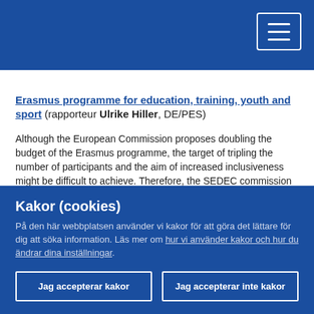Erasmus programme for education, training, youth and sport (rapporteur Ulrike Hiller, DE/PES)

Although the European Commission proposes doubling the budget of the Erasmus programme, the target of tripling the number of participants and the aim of increased inclusiveness might be difficult to achieve. Therefore, the SEDEC commission is calling for a transparent and equitable distribution of resources over the entire seven-year period, in which the budget is clearly allocated between the key actions.
Kakor (cookies)
På den här webbplatsen använder vi kakor för att göra det lättare för dig att söka information. Läs mer om hur vi använder kakor och hur du ändrar dina inställningar.
Jag accepterar kakor
Jag accepterar inte kakor